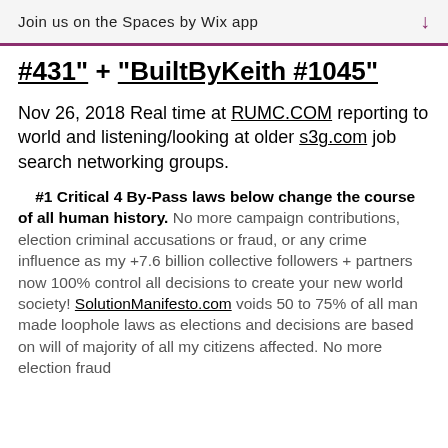Join us on the Spaces by Wix app ↓
#431" + "BuiltByKeith #1045"
Nov 26, 2018 Real time at RUMC.COM reporting to world and listening/looking at older s3g.com job search networking groups.
#1 Critical 4 By-Pass laws below change the course of all human history. No more campaign contributions, election criminal accusations or fraud, or any crime influence as my +7.6 billion collective followers + partners now 100% control all decisions to create your new world society! SolutionManifesto.com voids 50 to 75% of all man made loophole laws as elections and decisions are based on will of majority of all my citizens affected. No more election fraud